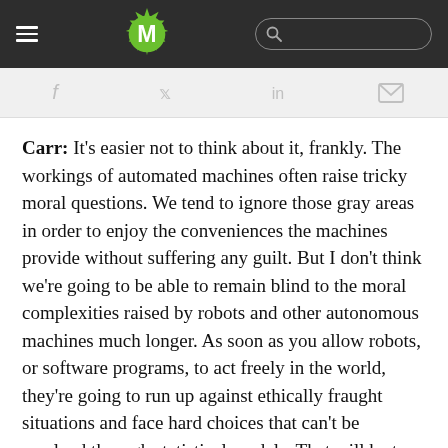M — navigation header with hamburger menu, M logo, and search bar
Social share icons: facebook, twitter, linkedin, email
Carr: It's easier not to think about it, frankly. The workings of automated machines often raise tricky moral questions. We tend to ignore those gray areas in order to enjoy the conveniences the machines provide without suffering any guilt. But I don't think we're going to be able to remain blind to the moral complexities raised by robots and other autonomous machines much longer. As soon as you allow robots, or software programs, to act freely in the world, they're going to run up against ethically fraught situations and face hard choices that can't be resolved through statistical models. That will be true of self-driving cars, self-flying drones, and battlefield robots, just as it's already true, on a lesser scale, with automated vacuum cleaners